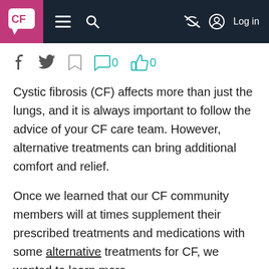CF [logo] — navigation bar with menu, search, eye-slash, and Log in
[Figure (screenshot): Social sharing and engagement toolbar with Facebook icon, Twitter icon, bookmark icon, comment icon with count 0, thumbs-up icon with count 0]
Cystic fibrosis (CF) affects more than just the lungs, and it is always important to follow the advice of your CF care team. However, alternative treatments can bring additional comfort and relief.
Once we learned that our CF community members will at times supplement their prescribed treatments and medications with some alternative treatments for CF, we wanted to learn more.